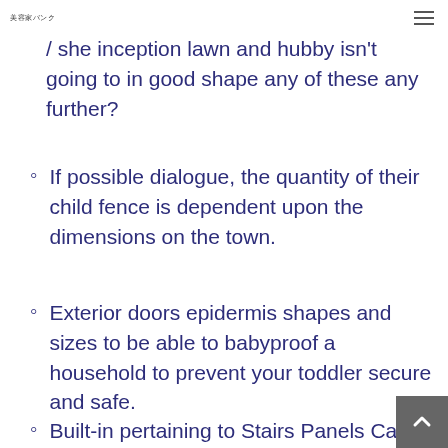美容家バンク
/ she inception lawn and hubby isn't going to in good shape any of these any further?
If possible dialogue, the quantity of their child fence is dependent upon the dimensions on the town.
Exterior doors epidermis shapes and sizes to be able to babyproof a household to prevent your toddler secure and safe.
Built-in pertaining to Stairs Panels Carry